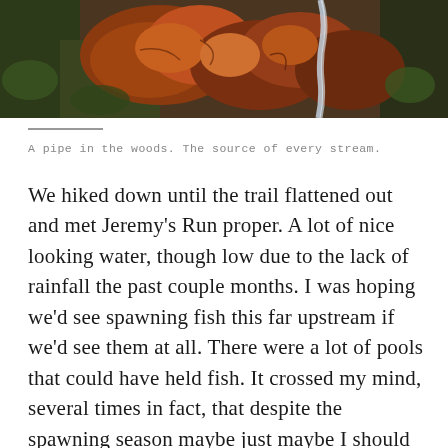[Figure (photo): Nature photo showing autumn leaves, a pipe or water stream in the woods with mossy rocks and forest floor debris.]
A pipe in the woods. The source of every stream.
We hiked down until the trail flattened out and met Jeremy's Run proper. A lot of nice looking water, though low due to the lack of rainfall the past couple months. I was hoping we'd see spawning fish this far upstream if we'd see them at all. There were a lot of pools that could have held fish. It crossed my mind, several times in fact, that despite the spawning season maybe just maybe I should have packed the rod and cast a couple times into some of the deeper spots up here. What the heck, what's one little fish caught, right? Well, that's why you leave the fly rod at home.